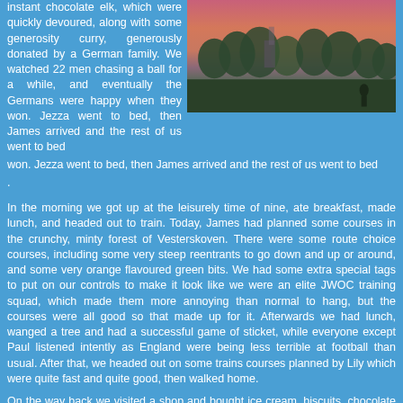instant chocolate elk, which were quickly devoured, along with some generosity curry, generously donated by a German family. We watched 22 men chasing a ball for a while, and eventually the Germans were happy when they won. Jezza went to bed, then James arrived and the rest of us went to bed
[Figure (photo): Outdoor photo showing a pink/red sunset sky above trees, with some structures visible in the background and a person silhouette at bottom right.]
.
In the morning we got up at the leisurely time of nine, ate breakfast, made lunch, and headed out to train. Today, James had planned some courses in the crunchy, minty forest of Vesterskoven. There were some route choice courses, including some very steep reentrants to go down and up or around, and some very orange flavoured green bits. We had some extra special tags to put on our controls to make it look like we were an elite JWOC training squad, which made them more annoying than normal to hang, but the courses were all good so that made up for it. Afterwards we had lunch, wanged a tree and had a successful game of sticket, while everyone except Paul listened intently as England were being less terrible at football than usual. After that, we headed out on some trains courses planned by Lily which were quite fast and quite good, then walked home.
On the way back we visited a shop and bought ice cream, biscuits, chocolate milk, chocolate and a toothbrush, because the main shop yesterday had only stocked extra healthy sugar free wholemeal digestives, which were rubbish. We discovered that Denmark sell